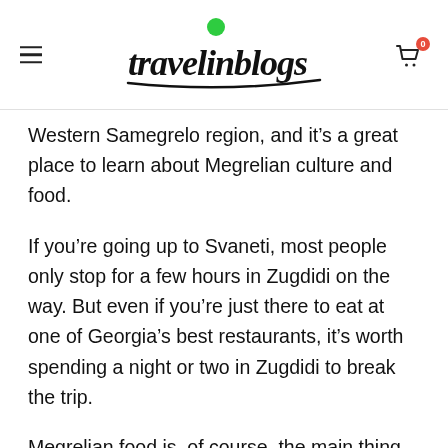travelinblogs
Western Samegrelo region, and it’s a great place to learn about Megrelian culture and food.
If you’re going up to Svaneti, most people only stop for a few hours in Zugdidi on the way. But even if you’re just there to eat at one of Georgia’s best restaurants, it’s worth spending a night or two in Zugdidi to break the trip.
Megrelian food is, of course, the main thing here. Rich Kharcho, stringy Elarii, and creamy